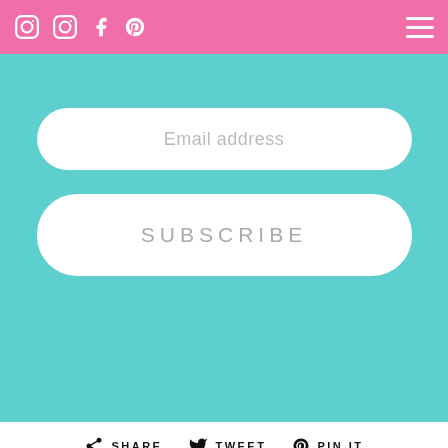Navigation bar with social icons (Instagram, Instagram, Facebook, Pinterest) and hamburger menu
[Figure (screenshot): Teal subscription form section with email address input field and SUBSCRIBE button]
Email address
SUBSCRIBE
SHARE
TWEET
PIN IT
EMAIL
OLDER POST